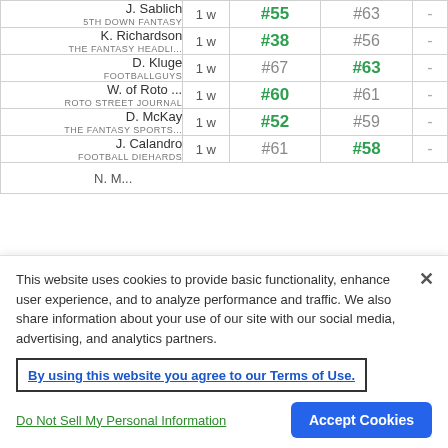| Expert | Age | Rank1 | Rank2 |  |
| --- | --- | --- | --- | --- |
| J. Sablich / 5TH DOWN FANTASY | 1 w | #55 | #63 | - |
| K. Richardson / THE FANTASY HEADLI... | 1 w | #38 | #56 | - |
| D. Kluge / FOOTBALLGUYS | 1 w | #67 | #63 | - |
| W. of Roto ... / ROTO STREET JOURNAL | 1 w | #60 | #61 | - |
| D. McKay / THE FANTASY SPORTS... | 1 w | #52 | #59 | - |
| J. Calandro / FOOTBALL DIEHARDS | 1 w | #61 | #58 | - |
This website uses cookies to provide basic functionality, enhance user experience, and to analyze performance and traffic. We also share information about your use of our site with our social media, advertising, and analytics partners.
By using this website you agree to our Terms of Use.
Do Not Sell My Personal Information
Accept Cookies